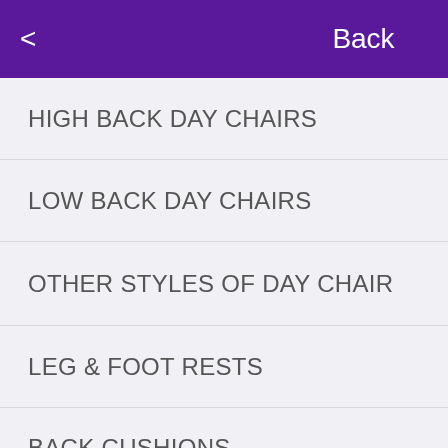Back
HIGH BACK DAY CHAIRS
LOW BACK DAY CHAIRS
OTHER STYLES OF DAY CHAIR
LEG & FOOT RESTS
BACK CUSHIONS
LUMBAR CUSHIONS
PATIENT HANDLING
MATTRESS PROTECTORS & SHEETS